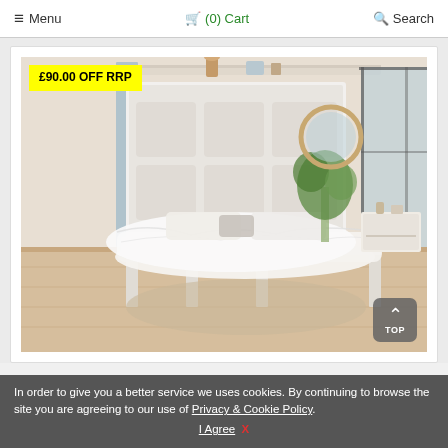≡ Menu   🛒 (0) Cart   🔍 Search
[Figure (photo): White wooden bed frame with upholstered headboard in a bright modern bedroom, with white bedding on a fluffy rug, plants and a round mirror in the background]
£90.00 OFF RRP
In order to give you a better service we uses cookies. By continuing to browse the site you are agreeing to our use of Privacy & Cookie Policy. I Agree  X